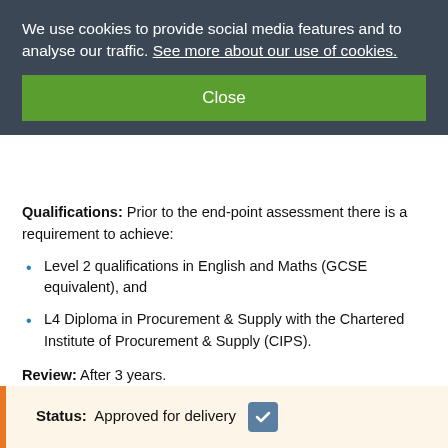We use cookies to provide social media features and to analyse our traffic. See more about our use of cookies.
Close
Qualifications: Prior to the end-point assessment there is a requirement to achieve:
Level 2 qualifications in English and Maths (GCSE equivalent), and
L4 Diploma in Procurement & Supply with the Chartered Institute of Procurement & Supply (CIPS).
Review: After 3 years.
Status: Approved for delivery